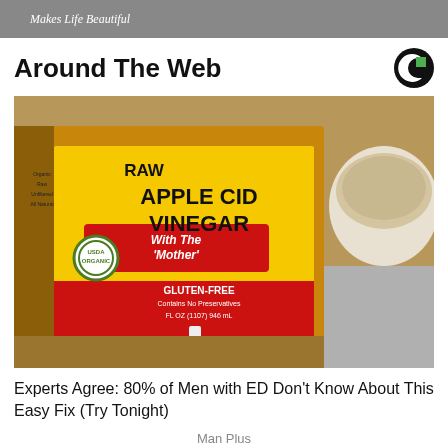Makes Life Beautiful
Around The Web
[Figure (photo): Close-up photo of a Bragg Raw Apple Cider Vinegar bottle with yellow label showing 'With The Mother', GLUTEN-FREE, USDA Organic seal, next to a bowl of powder on a wooden surface.]
Experts Agree: 80% of Men with ED Don't Know About This Easy Fix (Try Tonight)
Man Plus